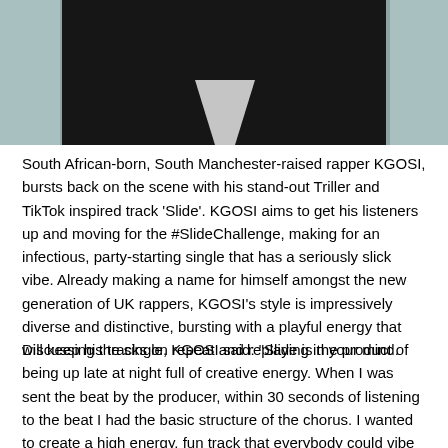[Figure (photo): Cropped photo showing lower portion of a person, dark clothing against a light textured background, with a white shape visible]
South African-born, South Manchester-raised rapper KGOSI, bursts back on the scene with his stand-out Triller and TikTok inspired track 'Slide'. KGOSI aims to get his listeners up and moving for the #SlideChallenge, making for an infectious, party-starting single that has a seriously slick vibe. Already making a name for himself amongst the new generation of UK rappers, KGOSI's style is impressively diverse and distinctive, bursting with a playful energy that will keep his tracks on repeat and replaying in your mind.
Discussing the single, KGOSI said: "Slide is the product of being up late at night full of creative energy. When I was sent the beat by the producer, within 30 seconds of listening to the beat I had the basic structure of the chorus. I wanted to create a high energy, fun track that everybody could vibe to and do some simple dance moves to.